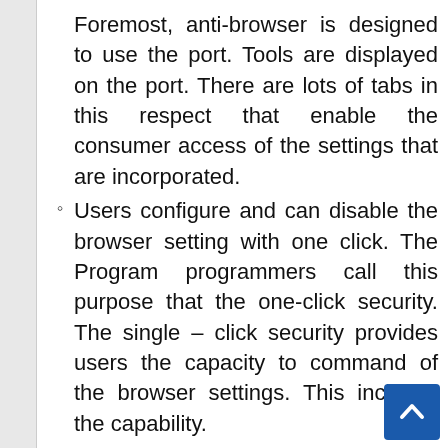Foremost, anti-browser is designed to use the port. Tools are displayed on the port. There are lots of tabs in this respect that enable the consumer access of the settings that are incorporated.
Users configure and can disable the browser setting with one click. The Program programmers call this purpose that the one-click security. The single – click security provides users the capacity to command of the browser settings. This includes the capability.
More so these works can be accomplished through an automated feature. In other words, the consumer can program some windows support and cleanups. The program enables users to